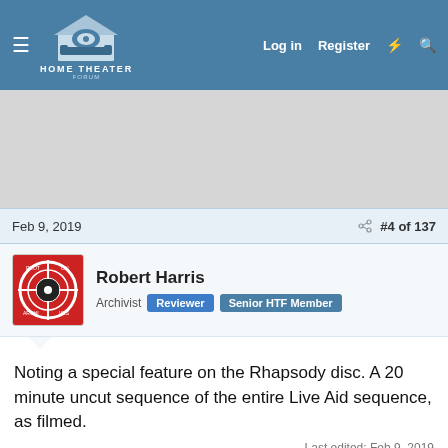Home Theater Forum — Log in  Register
[Figure (screenshot): Gray advertisement placeholder area]
Feb 9, 2019   #4 of 137
Robert Harris  Archivist  Reviewer  Senior HTF Member
Noting a special feature on the Rhapsody disc. A 20 minute uncut sequence of the entire Live Aid sequence, as filmed.
Last edited: Feb 9, 2019
Tina H V, battlebeast, ArnoldLayne and 7 others